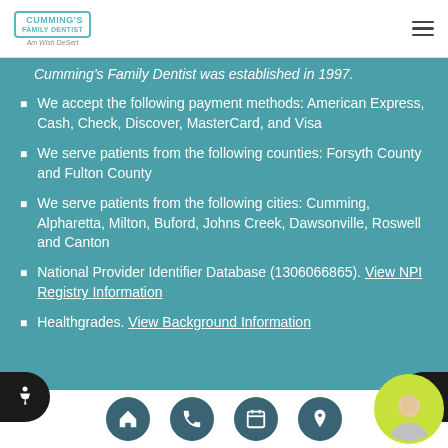Cumming's Family Dentist
Cumming's Family Dentist was established in 1997.
We accept the following payment methods: American Express, Cash, Check, Discover, MasterCard, and Visa
We serve patients from the following counties: Forsyth County and Fulton County
We serve patients from the following cities: Cumming, Alpharetta, Milton, Buford, Johns Creek, Dawsonville, Roswell and Canton
National Provider Identifier Database (1306066865). View NPI Registry Information
Healthgrades. View Background Information
Home | Phone | Calendar | Location